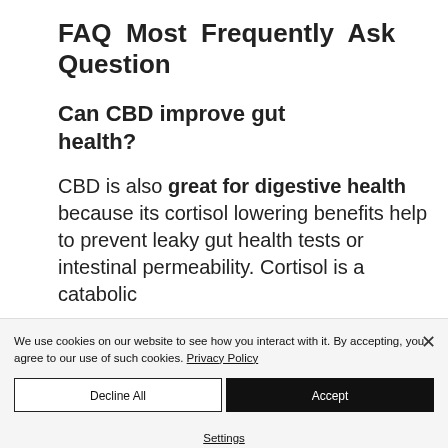FAQ Most Frequently Ask Question
Can CBD improve gut health?
CBD is also great for digestive health because its cortisol lowering benefits help to prevent leaky gut health tests or intestinal permeability. Cortisol is a catabolic
We use cookies on our website to see how you interact with it. By accepting, you agree to our use of such cookies. Privacy Policy
Decline All
Accept
Settings